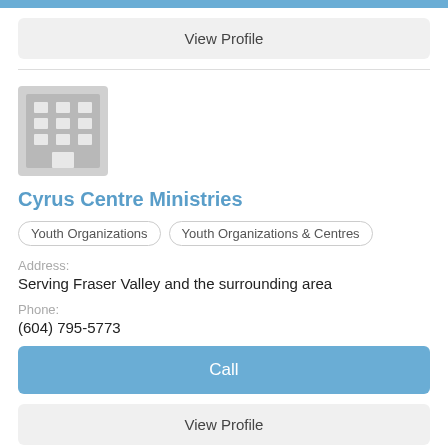View Profile
[Figure (illustration): Building/organization placeholder icon — grey square with grid of white windows and a door]
Cyrus Centre Ministries
Youth Organizations
Youth Organizations & Centres
Address:
Serving Fraser Valley and the surrounding area
Phone:
(604) 795-5773
Call
View Profile